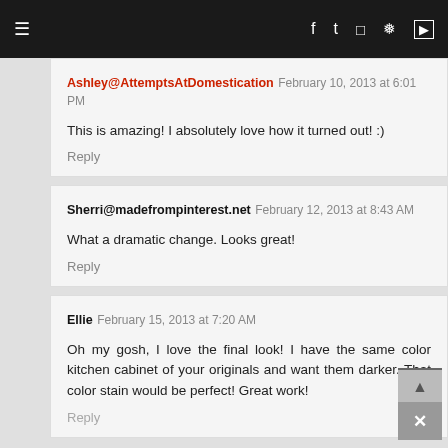Navigation bar with hamburger menu and social icons (Facebook, Twitter, Instagram, Pinterest, YouTube)
Ashley@AttemptsAtDomestication February 10, 2013 at 6:01 PM
This is amazing! I absolutely love how it turned out! :)
Reply
Sherri@madefrompinterest.net February 12, 2013 at 8:43 AM
What a dramatic change. Looks great!
Reply
Ellie February 15, 2013 at 7:20 AM
Oh my gosh, I love the final look! I have the same color kitchen cabinet of your originals and want them darker. That color stain would be perfect! Great work!
Reply
Robin February 16, 2013 at 2:17 AM